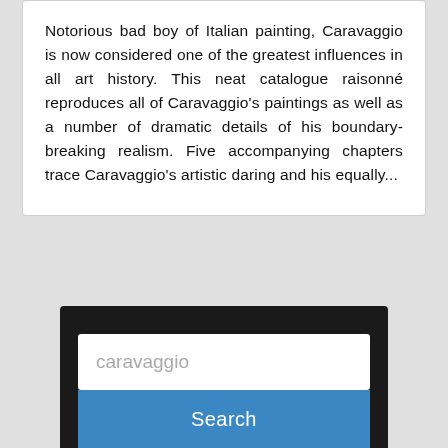Notorious bad boy of Italian painting, Caravaggio is now considered one of the greatest influences in all art history. This neat catalogue raisonné reproduces all of Caravaggio's paintings as well as a number of dramatic details of his boundary-breaking realism. Five accompanying chapters trace Caravaggio's artistic daring and his equally...
[Figure (screenshot): Search box with placeholder text 'caravaggio' and a blue Search button below it, on a dark background panel.]